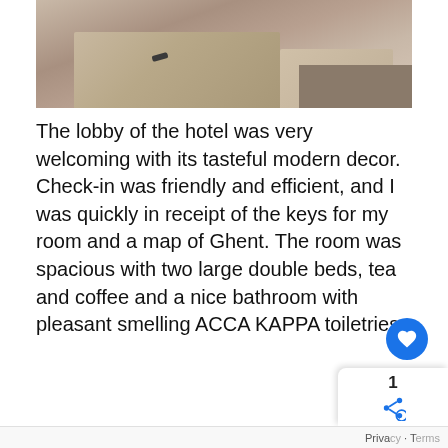[Figure (photo): Hotel room photo showing two beds with tan/beige bedding, a remote control on one bed, and carpet visible on the right side]
The lobby of the hotel was very welcoming with its tasteful modern decor. Check-in was friendly and efficient, and I was quickly in receipt of the keys for my room and a map of Ghent. The room was spacious with two large double beds, tea and coffee and a nice bathroom with pleasant smelling ACCA KAPPA toiletries.